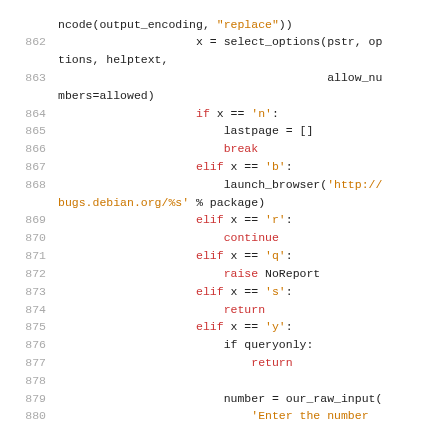[Figure (screenshot): Python source code snippet showing lines 862-879+, featuring select_options call, conditional branches for 'n', 'b', 'r', 'q', 's', 'y' with corresponding actions (lastpage=[], break, launch_browser, continue, raise NoReport, return, if queryonly: return), and number = our_raw_input(]